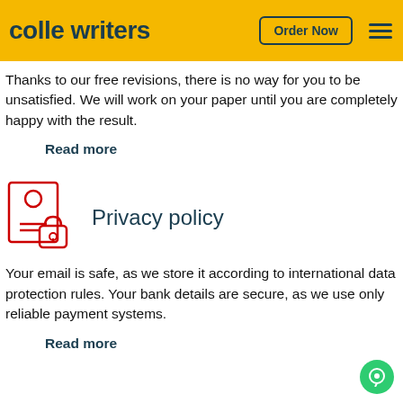colle writers | Order Now
Thanks to our free revisions, there is no way for you to be unsatisfied. We will work on your paper until you are completely happy with the result.
Read more
[Figure (illustration): Icon of a document with a person silhouette and a padlock, representing privacy policy]
Privacy policy
Your email is safe, as we store it according to international data protection rules. Your bank details are secure, as we use only reliable payment systems.
Read more